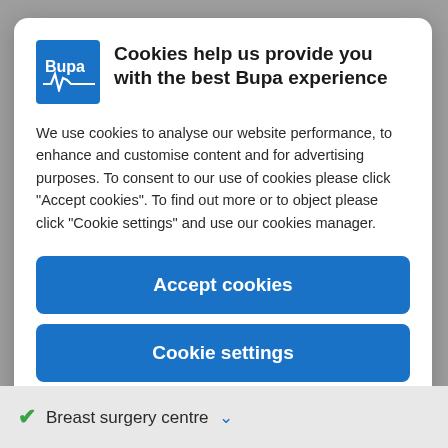[Figure (logo): Bupa logo — white Bupa text with heartbeat line on blue square background]
Cookies help us provide you with the best Bupa experience
We use cookies to analyse our website performance, to enhance and customise content and for advertising purposes. To consent to our use of cookies please click "Accept cookies". To find out more or to object please click "Cookie settings" and use our cookies manager.
Accept cookies
Cookie settings
Breast surgery centre